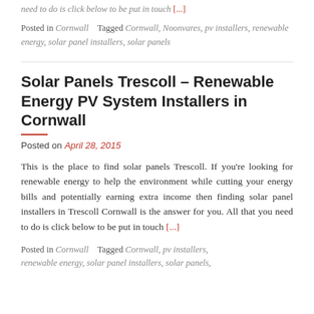need to do is click below to be put in touch [...]
Posted in Cornwall    Tagged Cornwall, Noonvares, pv installers, renewable energy, solar panel installers, solar panels
Solar Panels Trescoll – Renewable Energy PV System Installers in Cornwall
Posted on April 28, 2015
This is the place to find solar panels Trescoll. If you're looking for renewable energy to help the environment while cutting your energy bills and potentially earning extra income then finding solar panel installers in Trescoll Cornwall is the answer for you. All that you need to do is click below to be put in touch [...]
Posted in Cornwall    Tagged Cornwall, pv installers, renewable energy, solar panel installers, solar panels,